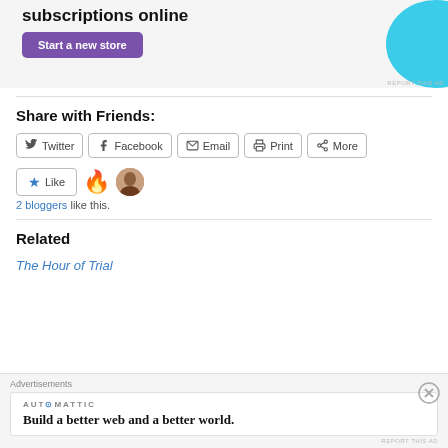[Figure (screenshot): Advertisement banner with 'subscriptions online' text, purple 'Start a new store' button, and blue decorative shape on right]
Share with Friends:
[Figure (screenshot): Social sharing buttons: Twitter, Facebook, Email, Print, More]
[Figure (screenshot): Like button with star icon, fire emoji, and avatar thumbnail; '2 bloggers like this.' text]
Related
The Hour of Trial
[Figure (screenshot): Bottom advertisement overlay: Automattic brand, 'Build a better web and a better world.' with close button]